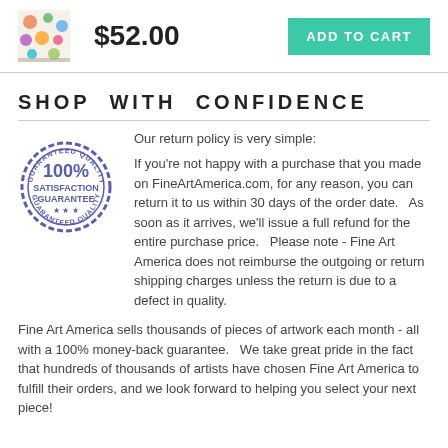[Figure (photo): Small product thumbnail image of colorful patterned artwork]
$52.00
ADD TO CART
SHOP WITH CONFIDENCE
[Figure (illustration): 100% Satisfaction Guarantee circular stamp seal in blue]
Our return policy is very simple:

If you're not happy with a purchase that you made on FineArtAmerica.com, for any reason, you can return it to us within 30 days of the order date.   As soon as it arrives, we'll issue a full refund for the entire purchase price.   Please note - Fine Art America does not reimburse the outgoing or return shipping charges unless the return is due to a defect in quality.
Fine Art America sells thousands of pieces of artwork each month - all with a 100% money-back guarantee.   We take great pride in the fact that hundreds of thousands of artists have chosen Fine Art America to fulfill their orders, and we look forward to helping you select your next piece!